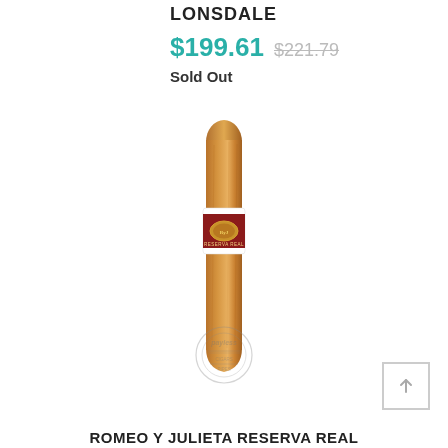LONSDALE
$199.61  $221.79
Sold Out
[Figure (photo): A single brown cigar with a red and gold band labeled 'Reserva Real', standing upright with a rounded cap at the top. A Payless Cigars & Pipes watermark stamp is overlaid at the bottom of the cigar.]
ROMEO Y JULIETA RESERVA REAL